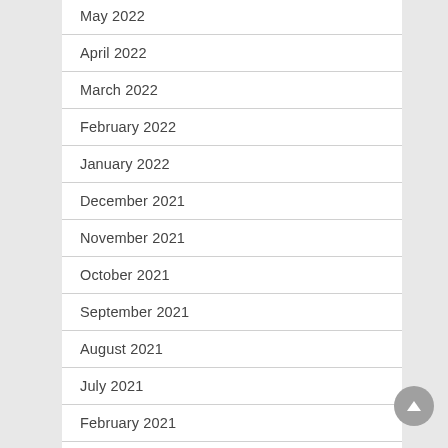May 2022
April 2022
March 2022
February 2022
January 2022
December 2021
November 2021
October 2021
September 2021
August 2021
July 2021
February 2021
January 2021